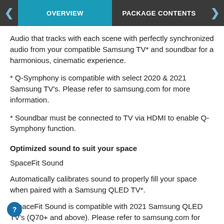OVERVIEW | PACKAGE CONTENTS
Audio that tracks with each scene with perfectly synchronized audio from your compatible Samsung TV* and soundbar for a harmonious, cinematic experience.
* Q-Symphony is compatible with select 2020 & 2021 Samsung TV's. Please refer to samsung.com for more information.
* Soundbar must be connected to TV via HDMI to enable Q-Symphony function.
Optimized sound to suit your space
SpaceFit Sound
Automatically calibrates sound to properly fill your space when paired with a Samsung QLED TV*.
*SpaceFit Sound is compatible with 2021 Samsung QLED TV's (Q70+ and above). Please refer to samsung.com for more information.